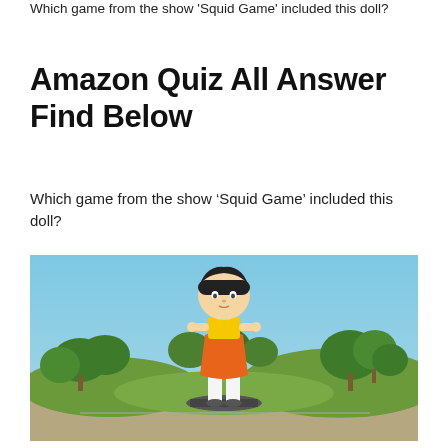Which game from the show 'Squid Game' included this doll?
Amazon Quiz All Answer Find Below
Which game from the show ‘Squid Game’ included this doll?
[Figure (photo): Large outdoor statue/doll from the Netflix show Squid Game — a large-headed girl wearing an orange dress and yellow top, white knee-high socks, dark shoes, standing on a circular platform surrounded by trees and a park setting under a blue sky.]